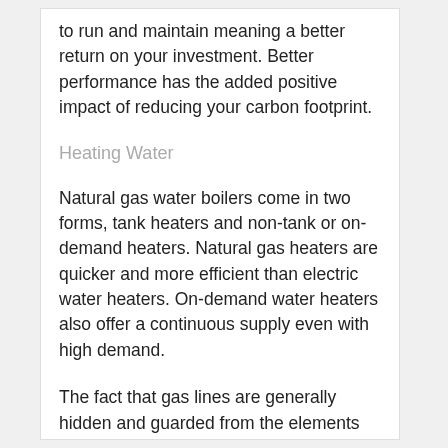to run and maintain meaning a better return on your investment. Better performance has the added positive impact of reducing your carbon footprint.
Heating Water
Natural gas water boilers come in two forms, tank heaters and non-tank or on-demand heaters. Natural gas heaters are quicker and more efficient than electric water heaters. On-demand water heaters also offer a continuous supply even with high demand.
The fact that gas lines are generally hidden and guarded from the elements means you can still have the ability to heat your home even if there's a power outage.
Cooking Food